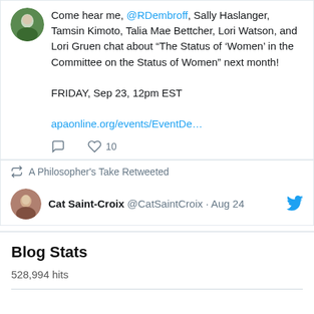Come hear me, @RDembroff, Sally Haslanger, Tamsin Kimoto, Talia Mae Bettcher, Lori Watson, and Lori Gruen chat about “The Status of ‘Women’ in the Committee on the Status of Women” next month!

FRIDAY, Sep 23, 12pm EST

apaonline.org/events/EventDe…
A Philosopher's Take Retweeted
Cat Saint-Croix @CatSaintCroix · Aug 24
Blog Stats
528,994 hits